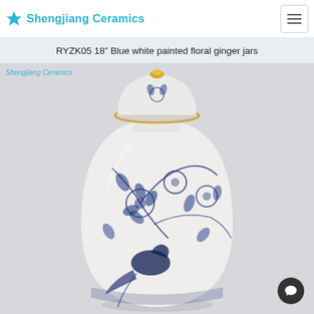Shengjiang Ceramics
RYZK05 18” Blue white painted floral ginger jars
[Figure (photo): A blue and white Chinese porcelain ginger jar with domed lid featuring a gold knob, decorated with floral and bird (phoenix/peacock) motifs in cobalt blue on white glaze. The jar has a classic ovoid shape. A watermark reading 'Shengjiang Ceramics' appears in the top-left corner of the image.]